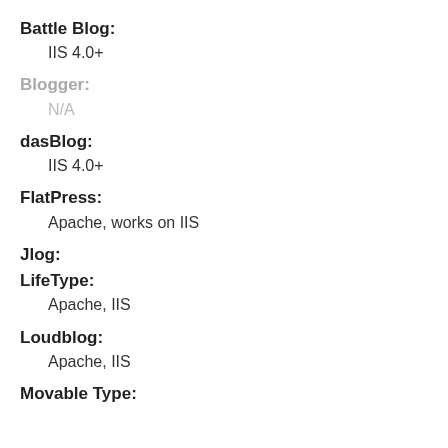Battle Blog:
IIS 4.0+
Blogger:
N/A
dasBlog:
IIS 4.0+
FlatPress:
Apache, works on IIS
Jlog:
LifeType:
Apache, IIS
Loudblog:
Apache, IIS
Movable Type: